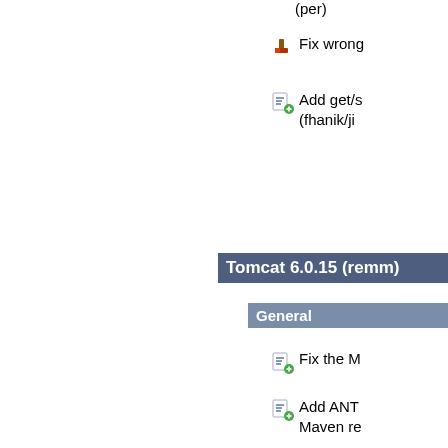(per)
Fix wrong...
Add get/s... (fhanik/ji...
Tomcat 6.0.15 (remm)
General
Fix the M...
Add ANT... Maven re...
Use Eclip...
Catalina
Guess jav... for 37284...
Add NIO... Connecto...
43653: Fi... more than...
43643: If...